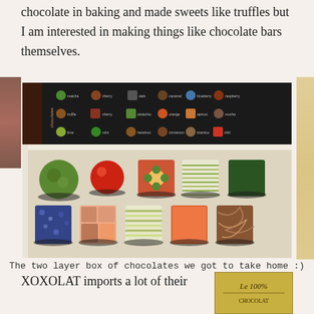chocolate in baking and made sweets like truffles but I am interested in making things like chocolate bars themselves.
[Figure (photo): A two-layer box of XOXOLAT chocolates. The top layer shows a menu/catalog panel with small images of chocolates arranged in a grid on a dark background with the XOXOLAT brand name vertically on the right. The bottom layer shows an open box of colorful artisan chocolates arranged in two rows of five, including round green, red spherical, and various square decorated pieces.]
The two layer box of chocolates we got to take home :)
XOXOLAT imports a lot of their
[Figure (photo): Small partial image showing 'Le 100%' text on a golden/yellow background, appears to be a chocolate product label.]